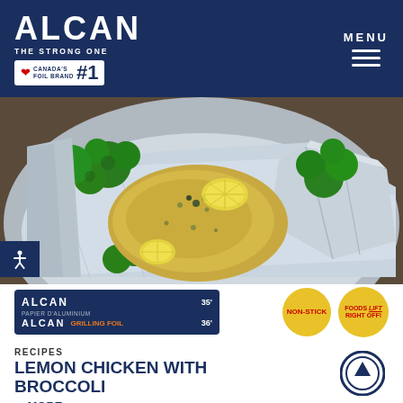ALCAN THE STRONG ONE CANADA'S #1 FOIL BRAND | MENU
[Figure (photo): Lemon chicken with broccoli served on aluminum foil in a plate, with lemon slices and capers]
[Figure (photo): Alcan Grilling Foil product package boxes (35ft and 36ft), alongside NON-STICK and FOODS LIFT RIGHT OFF circular sticker badges]
RECIPES
LEMON CHICKEN WITH BROCCOLI
... MORE